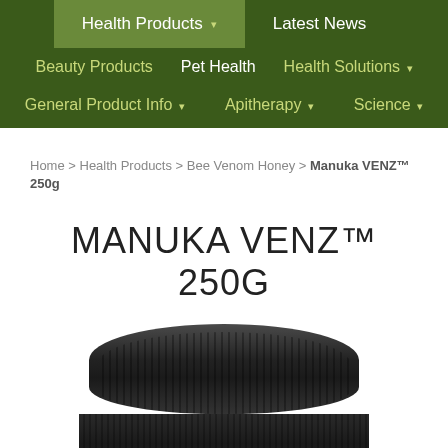Health Products | Latest News | Beauty Products | Pet Health | Health Solutions | General Product Info | Apitherapy | Science
Home > Health Products > Bee Venom Honey > Manuka VENZ™ 250g
MANUKA VENZ™ 250G
[Figure (photo): Black ribbed jar/container lid viewed from above, showing circular product packaging for Manuka VENZ 250g]